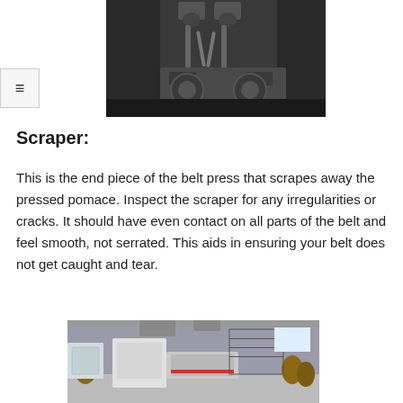[Figure (photo): Close-up photo of belt press machinery components showing rollers and tubing from underside view]
[Figure (other): Hamburger menu icon (three horizontal lines) in a box]
Scraper:
This is the end piece of the belt press that scrapes away the pressed pomace. Inspect the scraper for any irregularities or cracks. It should have even contact on all parts of the belt and feel smooth, not serrated. This aids in ensuring your belt does not get caught and tear.
[Figure (photo): Wide photo of an industrial winery/production facility interior showing belt press equipment, barrels, shelving with bottles, and various processing machinery]